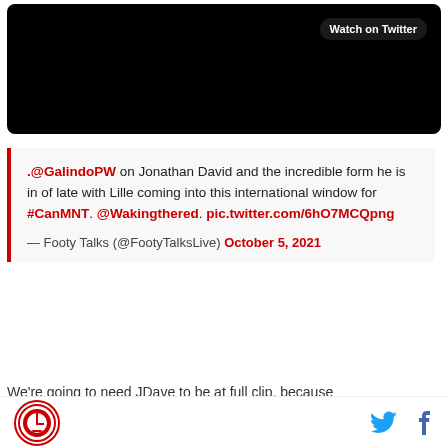[Figure (screenshot): Black video embed with 'Watch on Twitter' button in top right corner]
.@GalindoPW on Jonathan David and the incredible form he is in of late with Lille coming into this international window for #CanMNT. @Wakingthered. pic.twitter.com/6hO7MCQpng
— Footy Talks (@FootyTalksLive) October 5, 2021
We're going to need JDave to be at full clip, because
Logo | Twitter | Facebook